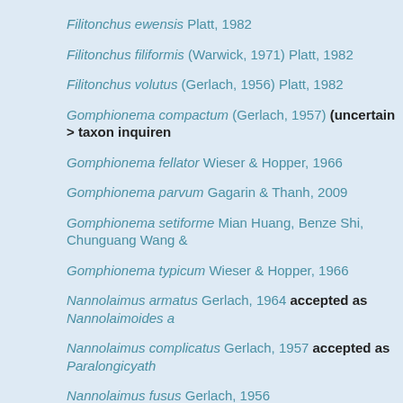Filitonchus ewensis Platt, 1982
Filitonchus filiformis (Warwick, 1971) Platt, 1982
Filitonchus volutus (Gerlach, 1956) Platt, 1982
Gomphionema compactum (Gerlach, 1957) (uncertain > taxon inquiren…
Gomphionema fellator Wieser & Hopper, 1966
Gomphionema parvum Gagarin & Thanh, 2009
Gomphionema setiforme Mian Huang, Benze Shi, Chunguang Wang &…
Gomphionema typicum Wieser & Hopper, 1966
Nannolaimus armatus Gerlach, 1964 accepted as Nannolaimoides a…
Nannolaimus complicatus Gerlach, 1957 accepted as Paralongicyath…
Nannolaimus fusus Gerlach, 1956
Nannolaimus guttatus Cobb, 1920